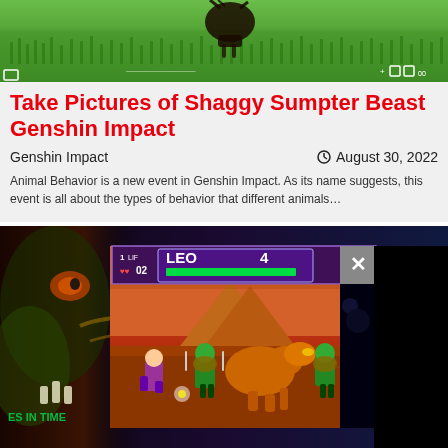[Figure (screenshot): Screenshot from Genshin Impact showing a creature (Shaggy Sumpter Beast) against a green grassy background with video player controls]
Take Pictures of Shaggy Sumpter Beast Genshin Impact
Genshin Impact          August 30, 2022
Animal Behavior is a new event in Genshin Impact. As its name suggests, this event is all about the types of behavior that different animals…
[Figure (screenshot): Screenshot from Teenage Mutant Ninja Turtles: Turtles in Time arcade game showing gameplay with LEO character HUD and fighters on a desert/prehistoric background, partially overlaid with a black rectangle and close button]